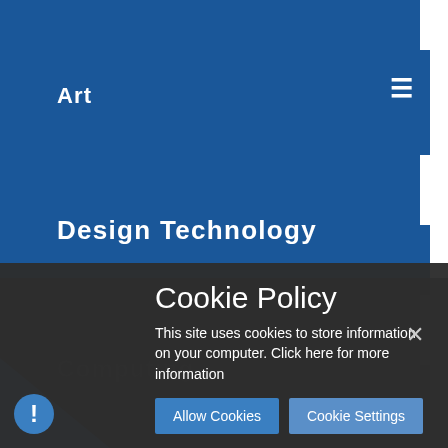Art
Design Technology
Computing
Music
Cookie Policy
This site uses cookies to store information on your computer. Click here for more information